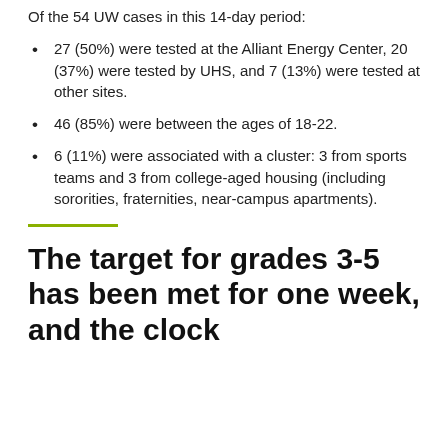Of the 54 UW cases in this 14-day period:
27 (50%) were tested at the Alliant Energy Center, 20 (37%) were tested by UHS, and 7 (13%) were tested at other sites.
46 (85%) were between the ages of 18-22.
6 (11%) were associated with a cluster: 3 from sports teams and 3 from college-aged housing (including sororities, fraternities, near-campus apartments).
The target for grades 3-5 has been met for one week, and the clock